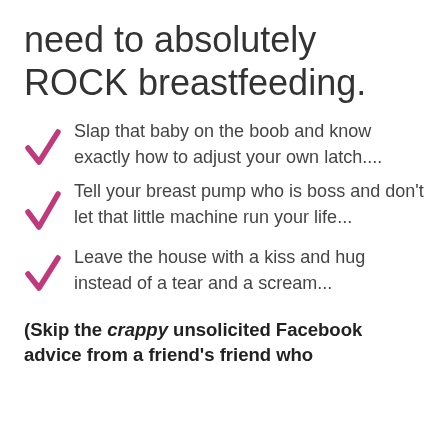need to absolutely ROCK breastfeeding.
Slap that baby on the boob and know exactly how to adjust your own latch....
Tell your breast pump who is boss and don't let that little machine run your life...
Leave the house with a kiss and hug instead of a tear and a scream...
(Skip the crappy unsolicited Facebook advice from a friend's friend who